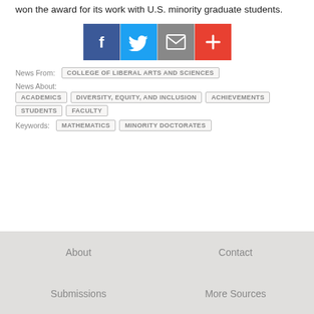won the award for its work with U.S. minority graduate students.
[Figure (infographic): Four social sharing buttons: Facebook (blue), Twitter (light blue), Email (gray), Add/More (red-orange), separated by vertical dividers]
News From: COLLEGE OF LIBERAL ARTS AND SCIENCES
News About: ACADEMICS  DIVERSITY, EQUITY, AND INCLUSION  ACHIEVEMENTS  STUDENTS  FACULTY
Keywords: MATHEMATICS  MINORITY DOCTORATES
About    Contact    Submissions    More Sources